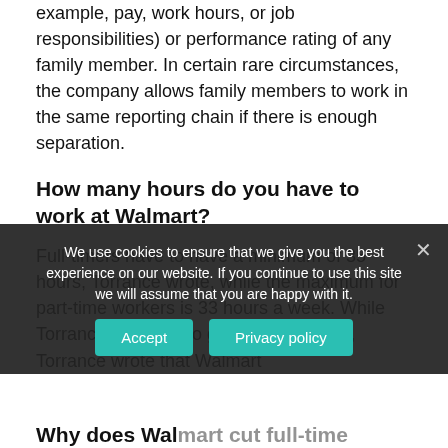example, pay, work hours, or job responsibilities) or performance rating of any family member. In certain rare circumstances, the company allows family members to work in the same reporting chain if there is enough separation.
How many hours do you have to work at Walmart?
Full-timers have to have a minimum of 35 hours, Torrance wrote, while the maximum for part-time workers is 33 hours a week. While Torrance was able to get full-time hours, Torrance wrote that Walmart
We use cookies to ensure that we give you the best experience on our website. If you continue to use this site we will assume that you are happy with it.
Why does Wal... [partially visible]